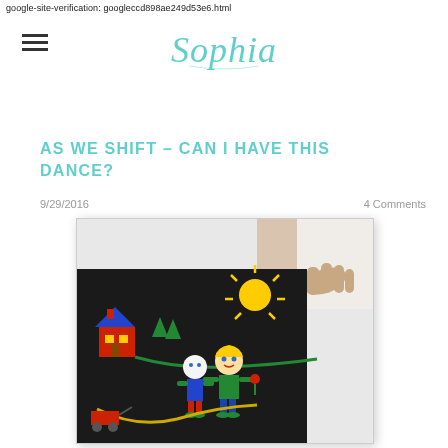google-site-verification: googleccd898ae249d53e6.html
[Figure (logo): Sophia cursive script logo in teal/turquoise color]
AS WE SHIFT - CAN I HAVE THIS DANCE?
9/29/2016
4 Comments
[Figure (photo): A child's hand lifting a black board revealing a colorful art scene made of foam/felt pieces on a dark background, showing a house, trees, sun, two child figures, and a wagon]